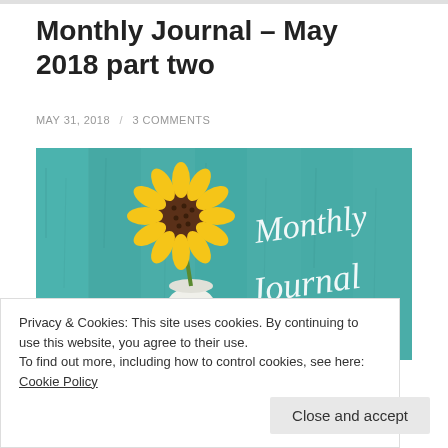Monthly Journal – May 2018 part two
MAY 31, 2018  /  3 COMMENTS
[Figure (illustration): A decorative blog header image showing a sunflower in a white vase against a teal wooden plank background, with 'Monthly Journal' written in white cursive script on the right side.]
Privacy & Cookies: This site uses cookies. By continuing to use this website, you agree to their use.
To find out more, including how to control cookies, see here: Cookie Policy
Close and accept